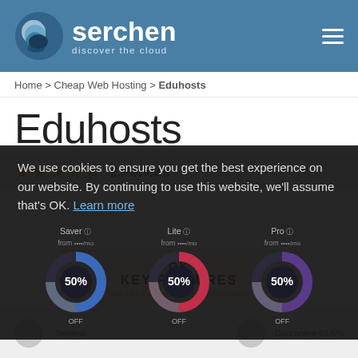serchen discover the cloud
Home > Cheap Web Hosting > Eduhosts
Eduhosts
★★★★★ 2 Reviews
We use cookies to ensure you get the best experience on our website. By continuing to use this website, we'll assume that's OK. Learn more
[Figure (donut-chart): Three donut charts each showing 50% — Saver, Lite, Pro plans]
OK
KEY FEATURES
We offer the best features on the market
Several | Guarantee 99.5%